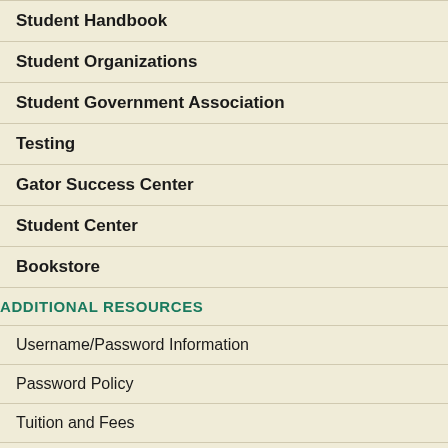Student Handbook
Student Organizations
Student Government Association
Testing
Gator Success Center
Student Center
Bookstore
ADDITIONAL RESOURCES
Username/Password Information
Password Policy
Tuition and Fees